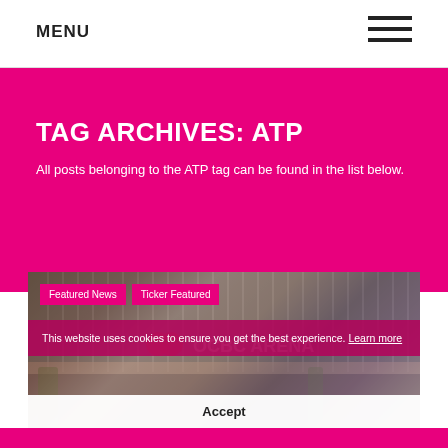MENU
TAG ARCHIVES: ATP
All posts belonging to the ATP tag can be found in the list below.
[Figure (photo): Photograph of OCBC Arena building exterior with trees and people, overlaid with cookie consent dialog and category tag buttons 'Featured News' and 'Ticker Featured'. Cookie notice reads: 'This website uses cookies to ensure you get the best experience. Learn more' with an Accept button.]